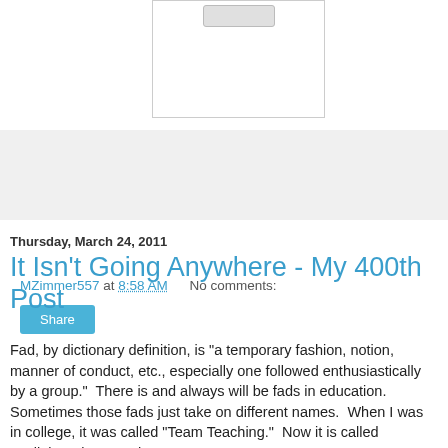[Figure (photo): Partially visible image box with a placeholder/broken image icon at the top center, white background with gray border]
MZimmer557 at 8:58 AM   No comments:
Share
Thursday, March 24, 2011
It Isn't Going Anywhere - My 400th Post
Fad, by dictionary definition, is "a temporary fashion, notion, manner of conduct, etc., especially one followed enthusiastically by a group."  There is and always will be fads in education.  Sometimes those fads just take on different names.  When I was in college, it was called "Team Teaching."  Now it is called "Collaboration."  In the 21st